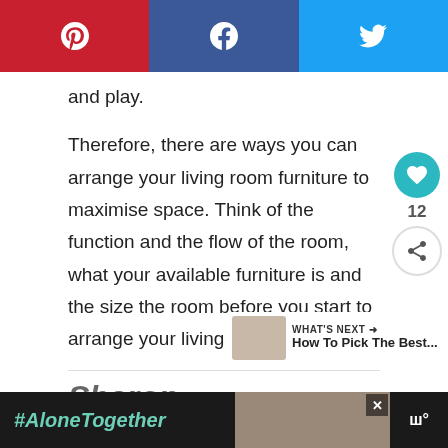[Figure (screenshot): Social share bar with Pinterest (red), Facebook (dark blue), and Twitter (light blue) buttons showing icons]
and play.
Therefore, there are ways you can arrange your living room furniture to maximise space. Think of the function and the flow of the room, what your available furniture is and the size the room before you start to arrange your living room furniture.
Sharon
[Figure (screenshot): Advertisement bar showing #AloneTogether hashtag with a photo of two people and a logo]